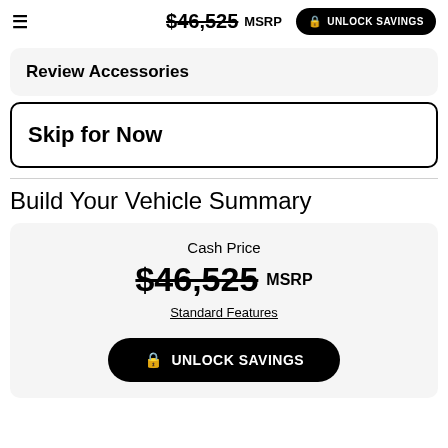$46,525 MSRP  UNLOCK SAVINGS
Review Accessories
Skip for Now
Build Your Vehicle Summary
Cash Price
$46,525 MSRP
Standard Features
UNLOCK SAVINGS